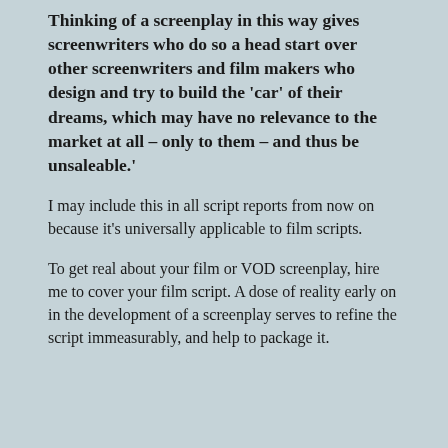Thinking of a screenplay in this way gives screenwriters who do so a head start over other screenwriters and film makers who design and try to build the 'car' of their dreams, which may have no relevance to the market at all – only to them – and thus be unsaleable.'
I may include this in all script reports from now on because it's universally applicable to film scripts.
To get real about your film or VOD screenplay, hire me to cover your film script. A dose of reality early on in the development of a screenplay serves to refine the script immeasurably, and help to package it.